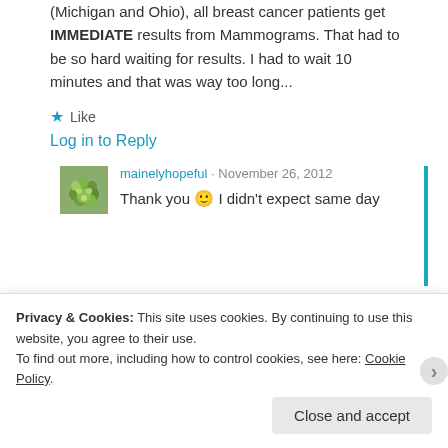(Michigan and Ohio), all breast cancer patients get IMMEDIATE results from Mammograms. That had to be so hard waiting for results. I had to wait 10 minutes and that was way too long...
★ Like
Log in to Reply
[Figure (photo): Avatar thumbnail of user mainelyhopeful showing green flowers/plant]
mainelyhopeful · November 26, 2012
Thank you 🙂 I didn't expect same day
Privacy & Cookies: This site uses cookies. By continuing to use this website, you agree to their use. To find out more, including how to control cookies, see here: Cookie Policy
Close and accept